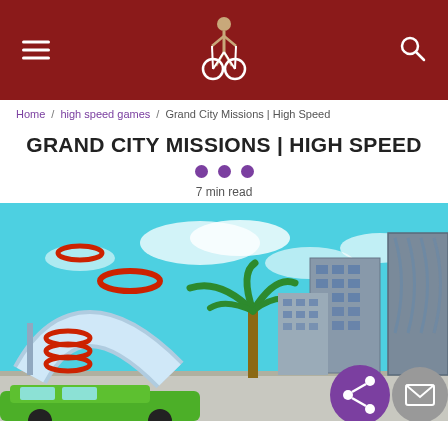Grand City Missions | High Speed — site header with hamburger menu and search
Home / high speed games / Grand City Missions | High Speed
GRAND CITY MISSIONS | HIGH SPEED
7 min read
[Figure (screenshot): Game screenshot showing a grand city environment with skyscrapers, a palm tree, a half-pipe ramp with red ring obstacles, blue sky with clouds, and a green car at the bottom. Two circular overlay buttons (purple share button and grey mail button) are visible at the bottom right.]